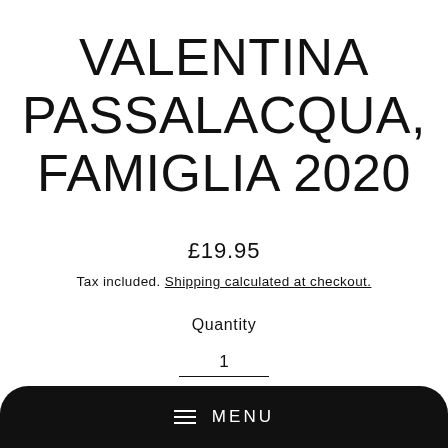VALENTINA PASSALACQUA, FAMIGLIA 2020
£19.95
Tax included. Shipping calculated at checkout.
Quantity
1
Add to cart
MENU